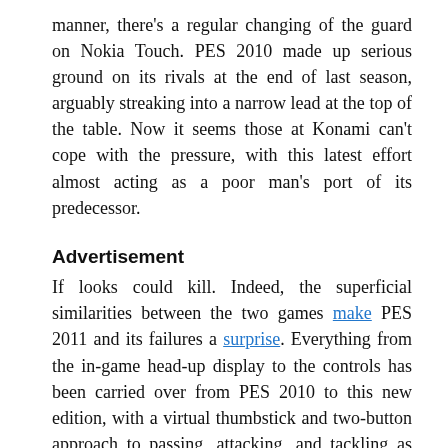manner, there's a regular changing of the guard on Nokia Touch. PES 2010 made up serious ground on its rivals at the end of last season, arguably streaking into a narrow lead at the top of the table. Now it seems those at Konami can't cope with the pressure, with this latest effort almost acting as a poor man's port of its predecessor.
Advertisement
If looks could kill. Indeed, the superficial similarities between the two games make PES 2011 and its failures a surprise. Everything from the in-game head-up display to the controls has been carried over from PES 2010 to this new edition, with a virtual thumbstick and two-button approach to passing, attacking, and tackling as comfortable as expected. Both one-touch and accelerometer controls make an appearance, with the former's intuitive approach to converting touches anywhere on the screen into logical passes or shots just as accomplished here as it was in PES 2010.